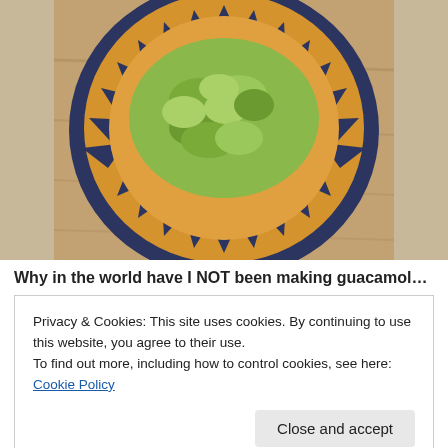[Figure (photo): A plate of guacamole served on a decorative yellow and dark blue sunflower-patterned plate, placed on a wooden table. The photo is cropped showing mostly the plate from above.]
Why in the world have I NOT been making guacamole all
Privacy & Cookies: This site uses cookies. By continuing to use this website, you agree to their use.
To find out more, including how to control cookies, see here: Cookie Policy
Close and accept